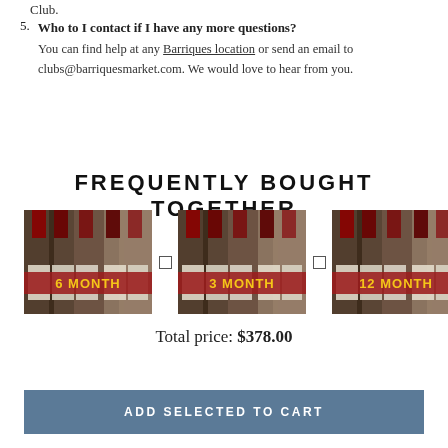Club.
5. Who to I contact if I have any more questions? You can find help at any Barriques location or send an email to clubs@barriquesmarket.com. We would love to hear from you.
FREQUENTLY BOUGHT TOGETHER
[Figure (photo): Three wine bottle club subscription images: 6 MONTH, 3 MONTH, 12 MONTH, shown side by side with checkboxes between them]
Total price: $378.00
ADD SELECTED TO CART